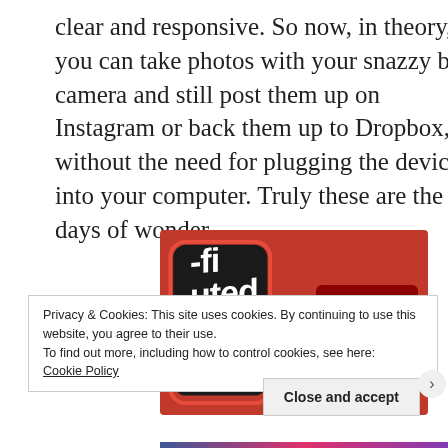clear and responsive. So now, in theory, you can take photos with your snazzy big camera and still post them up on Instagram or back them up to Dropbox, without the need for plugging the device into your computer. Truly these are the days of wonder.
[Figure (screenshot): Red advertisement banner showing a smartphone with a podcast app open, bold white text reading '-fi' and 'uted' (likely 'Fluted'), and a dark red 'Download now' button on the right side.]
Privacy & Cookies: This site uses cookies. By continuing to use this website, you agree to their use.
To find out more, including how to control cookies, see here:
Cookie Policy
Close and accept